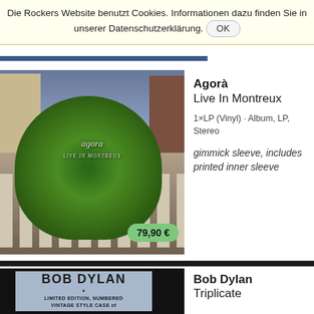Die Rockers Website benutzt Cookies. Informationen dazu finden Sie in unserer Datenschutzerklärung. OK
[Figure (photo): Album cover for Agora – Live In Montreux, showing a large green tree/bush in the middle of a zebra crossing street, with buildings in the background and cloudy sky. Price badge shows 79,90 €]
Agorà
Live In Montreux
1×LP (Vinyl) · Album, LP, Stereo
gimmick sleeve, includes printed inner sleeve
[Figure (photo): Album cover for Bob Dylan – Triplicate, showing BOB DYLAN text in large letters on a light blue background with LIMITED EDITION, NUMBERED VINTAGE STYLE CASE of text below]
Bob Dylan
Triplicate